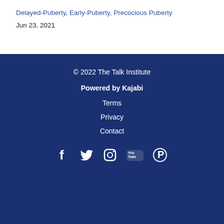Delayed-Puberty, Early-Puberty, Precocious Puberty
Jun 23, 2021
© 2022 The Talk Institute
Powered by Kajabi
Terms
Privacy
Contact
[Figure (other): Social media icons: Facebook, Twitter, Instagram, YouTube, Pinterest]